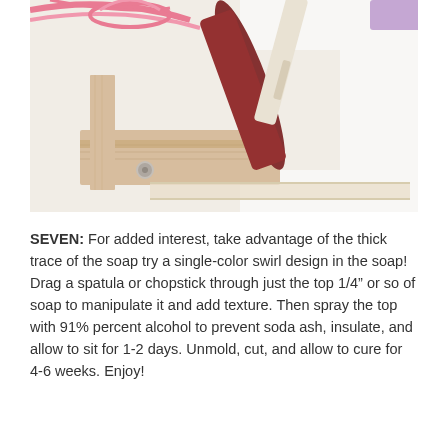[Figure (photo): Close-up photo of soap-making equipment: a wooden block mold frame with screws, white cylindrical soap log, pinkish-red clay or soap material, and brushes/tools on a white surface.]
SEVEN: For added interest, take advantage of the thick trace of the soap try a single-color swirl design in the soap! Drag a spatula or chopstick through just the top 1/4" or so of soap to manipulate it and add texture. Then spray the top with 91% percent alcohol to prevent soda ash, insulate, and allow to sit for 1-2 days. Unmold, cut, and allow to cure for 4-6 weeks. Enjoy!